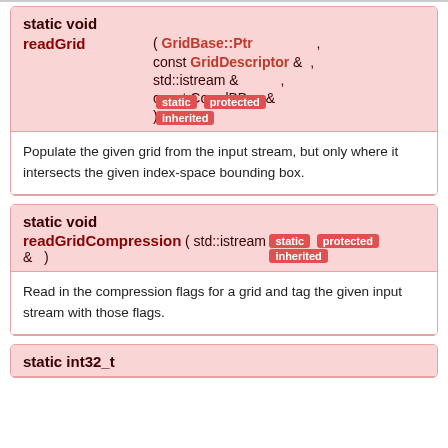| static void readGrid | ( GridBase::Ptr | , |
|  | const GridDescriptor & | , |
|  | std::istream & | , |
|  | const CoordBBox & |  |
|  | ) | static protected inherited |
Populate the given grid from the input stream, but only where it intersects the given index-space bounding box.
| static void readGridCompression | ( std::istream & ) | static protected inherited |
Read in the compression flags for a grid and tag the given input stream with those flags.
| static int32_t |  |  |